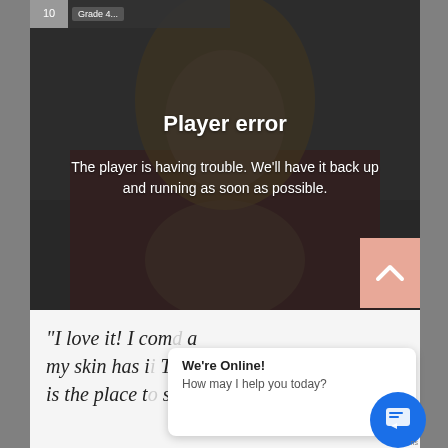[Figure (screenshot): Video player showing a woman with blonde hair in a red off-shoulder top, with a dark overlay and player error message]
Player error
The player is having trouble. We'll have it back up and running as soon as possible.
"I love it! I com... a... my skin has i... T... is the place t... sk..."
We're Online!
How may I help you today?